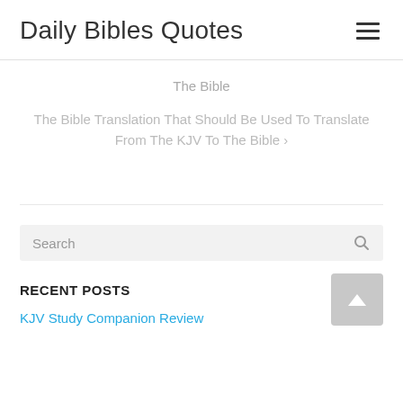Daily Bibles Quotes
The Bible
The Bible Translation That Should Be Used To Translate From The KJV To The Bible ›
Search
RECENT POSTS
KJV Study Companion Review